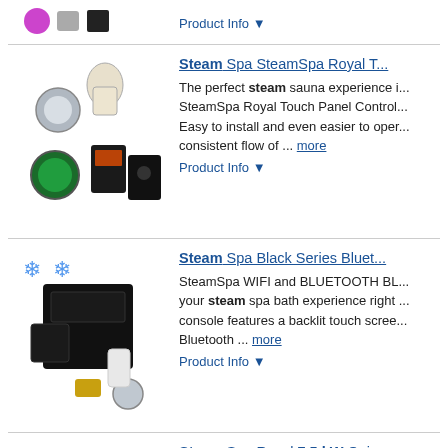[Figure (photo): Top partial product image with colored icons (purple circle, gray icon, black square)]
Product Info ▼
[Figure (photo): Steam Spa SteamSpa Royal Touch product bundle photo with chrome pieces, glass jar, LED light, and black control panels]
Steam Spa SteamSpa Royal T... The perfect steam sauna experience i... SteamSpa Royal Touch Panel Control... Easy to install and even easier to oper... consistent flow of ... more
Product Info ▼
[Figure (photo): Steam Spa Black Series Bluetooth product photo with black components, snowflake icons]
Steam Spa Black Series Bluet... SteamSpa WIFI and BLUETOOTH BL... your steam spa bath experience right ... console features a backlit touch scree... Bluetooth ... more
Product Info ▼
[Figure (photo): Steam Spa Royal 7.5 kW blue generator box with accessories]
Steam Spa Royal 7.5 kW Quic... The perfect steam sauna experience i... steam generator packages. Easy to i... steam generators produce a consiste... to the ... more
Product Info ▼
[Figure (photo): Steam Spa Indulgence 7.5 KW blue generator box]
Steam Spa Indulgence 7.5 KW... The perfect steam sauna experience i... generator packages. Easy to install a... generators produce a consistent flow... cleverly ... more